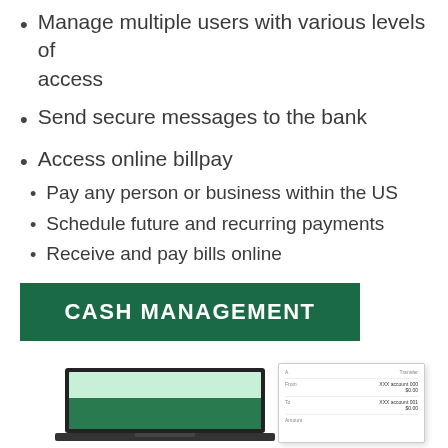Manage multiple users with various levels of access
Send secure messages to the bank
Access online billpay
Pay any person or business within the US
Schedule future and recurring payments
Receive and pay bills online
CASH MANAGEMENT
[Figure (screenshot): Screenshot of a banking interface shown on a laptop/tablet device displaying a transfer or payment form with fields for From, To, and amount values.]